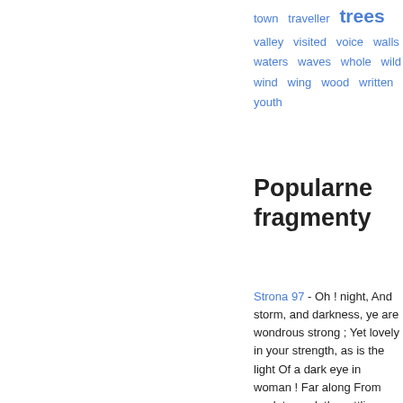town  traveller  trees  valley  visited  voice  walls  waters  waves  whole  wild  wind  wing  wood  written  youth
Popularne fragmenty
Strona 97 - Oh ! night, And storm, and darkness, ye are wondrous strong ; Yet lovely in your strength, as is the light Of a dark eye in woman ! Far along From peak to peak the rattling crags among Leaps the live thunder ! Not from one lone cloud, But every mountain now